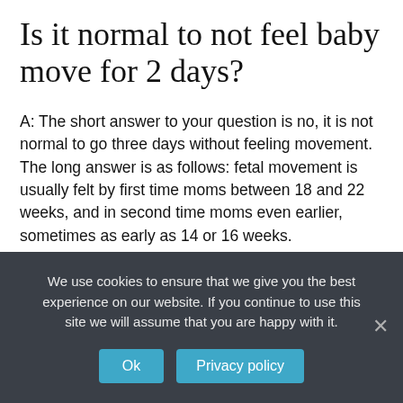Is it normal to not feel baby move for 2 days?
A: The short answer to your question is no, it is not normal to go three days without feeling movement. The long answer is as follows: fetal movement is usually felt by first time moms between 18 and 22 weeks, and in second time moms even earlier, sometimes as early as 14 or 16 weeks.
What problems does world hunger cause?
We use cookies to ensure that we give you the best experience on our website. If you continue to use this site we will assume that you are happy with it.